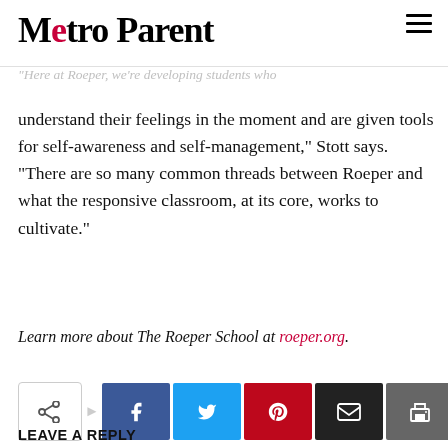Metro Parent
understand their feelings in the moment and are given tools for self-awareness and self-management," Stott says. "There are so many common threads between Roeper and what the responsive classroom, at its core, works to cultivate."
Learn more about The Roeper School at roeper.org.
[Figure (infographic): Social sharing buttons row: share icon box, arrow, then Facebook (blue), Twitter (cyan), Pinterest (red), Email (black), Print (gray) buttons]
LEAVE A REPLY